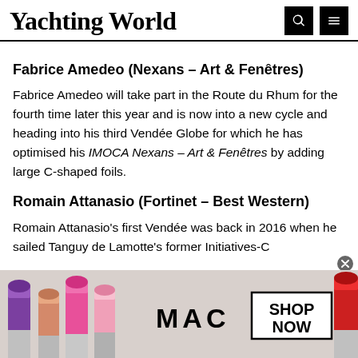Yachting World
Fabrice Amedeo (Nexans – Art & Fenêtres)
Fabrice Amedeo will take part in the Route du Rhum for the fourth time later this year and is now into a new cycle and heading into his third Vendée Globe for which he has optimised his IMOCA Nexans – Art & Fenêtres by adding large C-shaped foils.
Romain Attanasio (Fortinet – Best Western)
Romain Attanasio's first Vendée was back in 2016 when he sailed Tanguy de Lamotte's former Initiatives-C...
[Figure (photo): MAC cosmetics advertisement banner featuring lipsticks and MAC logo with SHOP NOW button]